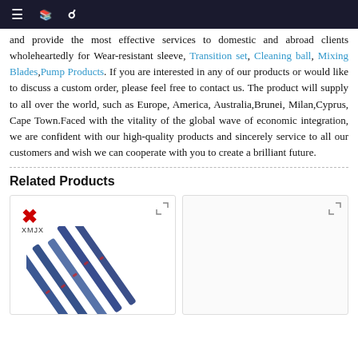≡ 📖 🔍
and provide the most effective services to domestic and abroad clients wholeheartedly for Wear-resistant sleeve, Transition set, Cleaning ball, Mixing Blades, Pump Products. If you are interested in any of our products or would like to discuss a custom order, please feel free to contact us. The product will supply to all over the world, such as Europe, America, Australia, Brunei, Milan, Cyprus, Cape Town. Faced with the vitality of the global wave of economic integration, we are confident with our high-quality products and sincerely service to all our customers and wish we can cooperate with you to create a brilliant future.
Related Products
[Figure (photo): Product card showing XMJX logo (red X) and mixing blades/blue rods photo]
[Figure (photo): Empty product card with expand icon]